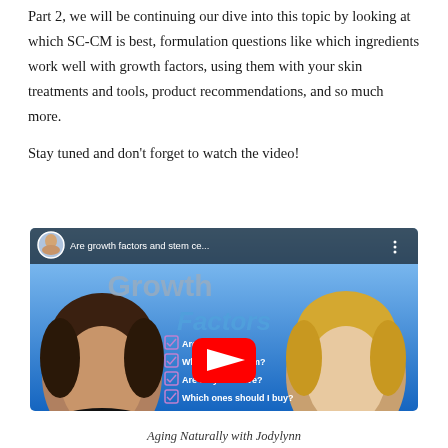Part 2, we will be continuing our dive into this topic by looking at which SC-CM is best, formulation questions like which ingredients work well with growth factors, using them with your skin treatments and tools, product recommendations, and so much more.

Stay tuned and don't forget to watch the video!
[Figure (screenshot): YouTube video thumbnail for 'Are growth factors and stem ce...' from the channel 'Aging Naturally with Jodylynn'. Shows two women's faces, text overlay about Growth Factors with checklist items: Are th[ey real?], Wher[e do they co]me from?, Are they effective?, Which ones should I buy? A red YouTube play button is centered over the thumbnail.]
Aging Naturally with Jodylynn